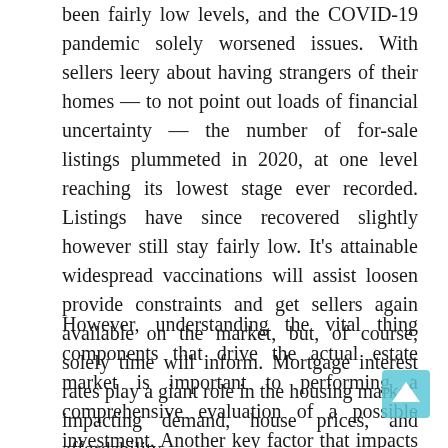been fairly low levels, and the COVID-19 pandemic solely worsened issues. With sellers leery about having strangers of their homes — to not point out loads of financial uncertainty — the number of for-sale listings plummeted in 2020, at one level reaching its lowest stage ever recorded. Listings have since recovered slightly however still stay fairly low. It's attainable widespread vaccinations will assist loosen provide constraints and get sellers again available on the market, but, of course, solely time will inform. Mortgage interest rates play a giant role in the housing market, impacting demand, house prices, and affordability.
However, understanding the vital thing components that drive the actual estate market is important to performing a comprehensive evaluation of a possible investment. Another key factor that impacts the worth of real estate is the